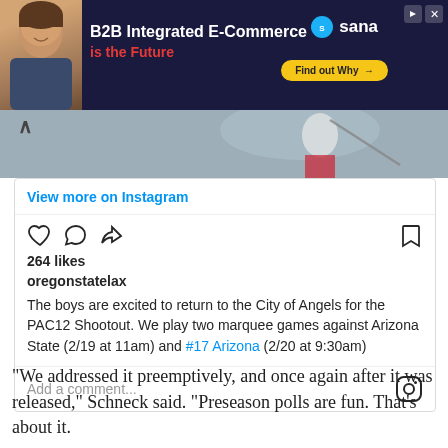[Figure (screenshot): Ad banner for Sana B2B Integrated E-Commerce with dark navy background, man photo on left, 'Find out Why' yellow button]
[Figure (photo): Lacrosse player action photo strip with upward chevron arrow on left]
View more on Instagram
[Figure (screenshot): Instagram post UI with heart, comment, share icons, bookmark icon]
264 likes
oregonstatelax
The boys are excited to return to the City of Angels for the PAC12 Shootout. We play two marquee games against Arizona State (2/19 at 11am) and #17 Arizona (2/20 at 9:30am)
Add a comment...
“We addressed it preemptively, and once again after it was released,” Schneck said. “Preseason polls are fun. That’s about it.